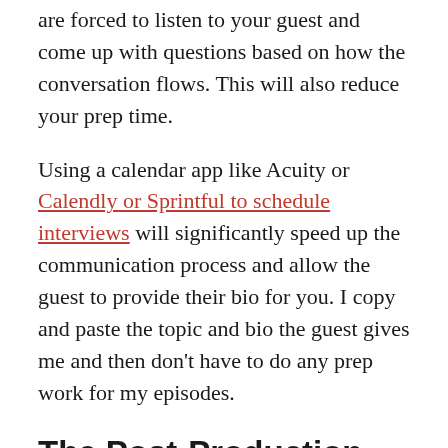are forced to listen to your guest and come up with questions based on how the conversation flows. This will also reduce your prep time.
Using a calendar app like Acuity or Calendly or Sprintful to schedule interviews will significantly speed up the communication process and allow the guest to provide their bio for you. I copy and paste the topic and bio the guest gives me and then don't have to do any prep work for my episodes.
The Post-Production
Once you record an episode, the last steps